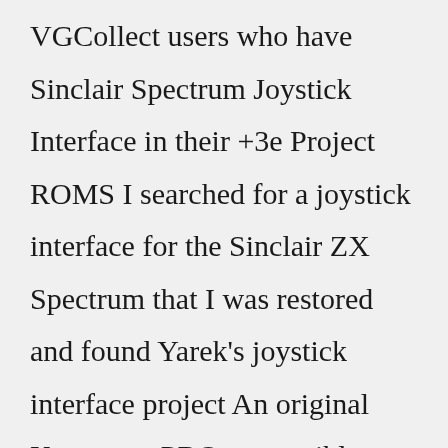VGCollect users who have Sinclair Spectrum Joystick Interface in their +3e Project ROMS I searched for a joystick interface for the Sinclair ZX Spectrum that I was restored and found Yarek's joystick interface project An original Kempston PRO compatible Joystick Interface! The Kempston standard is THE most widely supported joystick standard on the ZX Spectrum, and so this interface will allow you to play pretty much 99.1 chip Joystick: